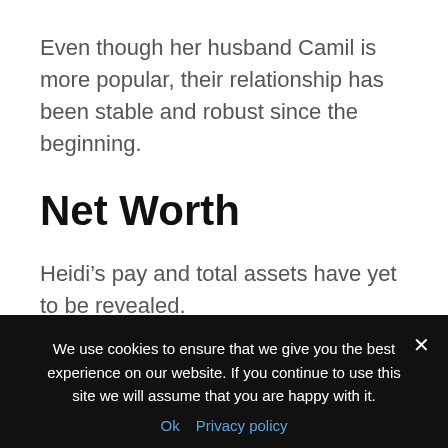Even though her husband Camil is more popular, their relationship has been stable and robust since the beginning.
Net Worth
Heidi’s pay and total assets have yet to be revealed.
Nonetheless, according to various sources, she
We use cookies to ensure that we give you the best experience on our website. If you continue to use this site we will assume that you are happy with it.
Ok  Privacy policy